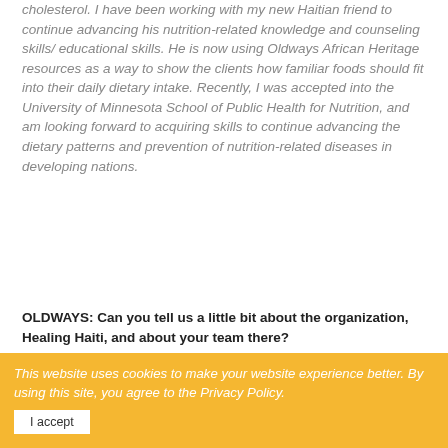cholesterol. I have been working with my new Haitian friend to continue advancing his nutrition-related knowledge and counseling skills/ educational skills. He is now using Oldways African Heritage resources as a way to show the clients how familiar foods should fit into their daily dietary intake. Recently, I was accepted into the University of Minnesota School of Public Health for Nutrition, and am looking forward to acquiring skills to continue advancing the dietary patterns and prevention of nutrition-related diseases in developing nations.
OLDWAYS: Can you tell us a little bit about the organization, Healing Haiti, and about your team there? KRISTINA: Healing Haiti is a non-profit, 503 (c), organization that was founded in 2006 by Alyn Shanon and Jeffery Gacek. The organization has several
This website uses cookies to make your website experience better. By using this site, you agree to the Privacy Policy. I accept